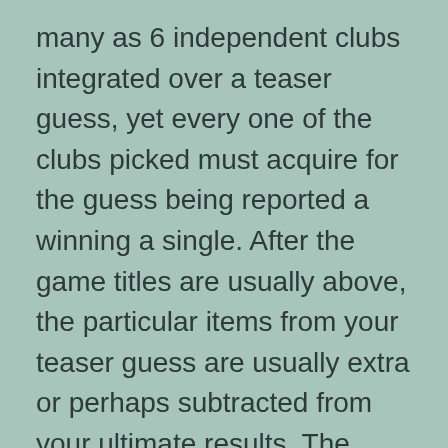many as 6 independent clubs integrated over a teaser guess, yet every one of the clubs picked must acquire for the guess being reported a winning a single. After the game titles are usually above, the particular items from your teaser guess are usually extra or perhaps subtracted from your ultimate results. The chances regarding teaser gambling bets may be diverse each and every time, it's the same an excellent decide to always check the particular sporting activities publication just before inserting the guess.
Any idea to keep in mind will be in which